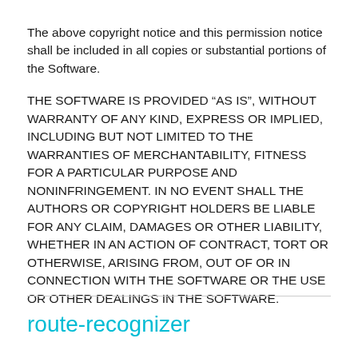The above copyright notice and this permission notice shall be included in all copies or substantial portions of the Software.
THE SOFTWARE IS PROVIDED “AS IS”, WITHOUT WARRANTY OF ANY KIND, EXPRESS OR IMPLIED, INCLUDING BUT NOT LIMITED TO THE WARRANTIES OF MERCHANTABILITY, FITNESS FOR A PARTICULAR PURPOSE AND NONINFRINGEMENT. IN NO EVENT SHALL THE AUTHORS OR COPYRIGHT HOLDERS BE LIABLE FOR ANY CLAIM, DAMAGES OR OTHER LIABILITY, WHETHER IN AN ACTION OF CONTRACT, TORT OR OTHERWISE, ARISING FROM, OUT OF OR IN CONNECTION WITH THE SOFTWARE OR THE USE OR OTHER DEALINGS IN THE SOFTWARE.
route-recognizer